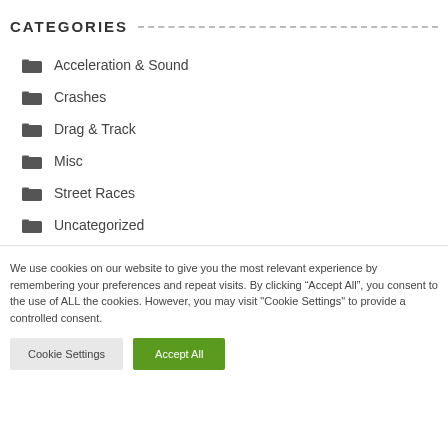CATEGORIES
Acceleration & Sound
Crashes
Drag & Track
Misc
Street Races
Uncategorized
We use cookies on our website to give you the most relevant experience by remembering your preferences and repeat visits. By clicking “Accept All”, you consent to the use of ALL the cookies. However, you may visit "Cookie Settings" to provide a controlled consent.
Cookie Settings | Accept All